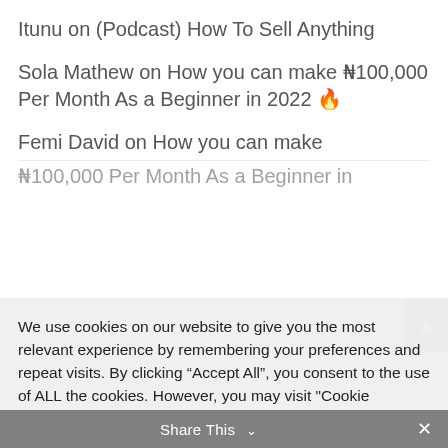Itunu on (Podcast) How To Sell Anything
Sola Mathew on How you can make ₦100,000 Per Month As a Beginner in 2022 🔥
Femi David on How you can make ₦100,000 Per Month As a Beginner in…
We use cookies on our website to give you the most relevant experience by remembering your preferences and repeat visits. By clicking "Accept All", you consent to the use of ALL the cookies. However, you may visit "Cookie Settings" to provide a controlled consent.
Cookie Settings | Accept All
Share This ∨  ✕